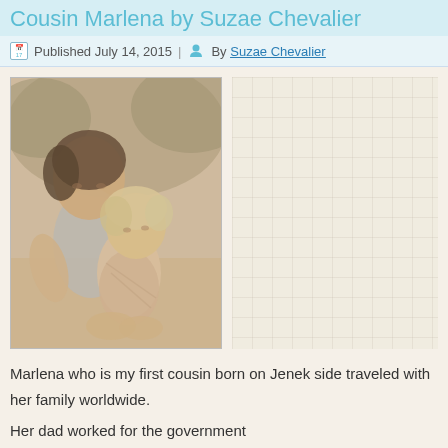Cousin Marlena by Suzae Chevalier
Published July 14, 2015 | By Suzae Chevalier
[Figure (photo): Vintage photograph of two children, an older child holding a younger toddler, both looking downward. Faded warm-toned photo likely from the 1970s or 1980s.]
Marlena who is my first cousin born on Jenek side traveled with her family worldwide.
Her dad worked for the government